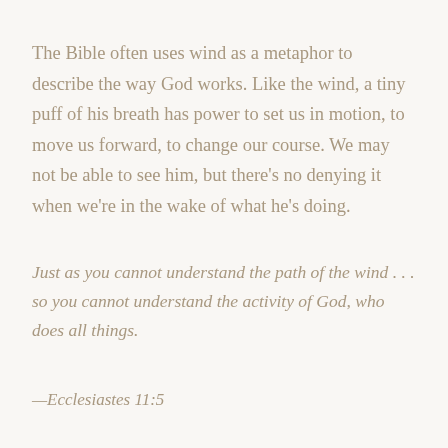The Bible often uses wind as a metaphor to describe the way God works. Like the wind, a tiny puff of his breath has power to set us in motion, to move us forward, to change our course. We may not be able to see him, but there's no denying it when we're in the wake of what he's doing.
Just as you cannot understand the path of the wind . . . so you cannot understand the activity of God, who does all things.
—Ecclesiastes 11:5